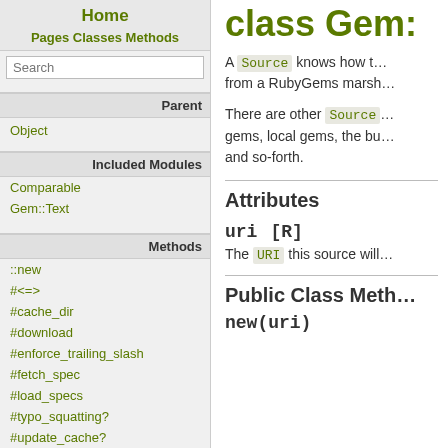Home
Pages Classes Methods
Search
Parent
Object
Included Modules
Comparable
Gem::Text
Methods
::new
#<=>
#cache_dir
#download
#enforce_trailing_slash
#fetch_spec
#load_specs
#typo_squatting?
#update_cache?
class Gem:
A Source knows how t… from a RubyGems marsh…
There are other Source… gems, local gems, the bu… and so-forth.
Attributes
uri  [R]
The URI this source will…
Public Class Meth…
new(uri)